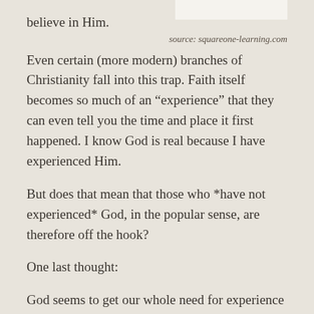believe in Him.
source: squareone-learning.com
Even certain (more modern) branches of Christianity fall into this trap. Faith itself becomes so much of an “experience” that they can even tell you the time and place it first happened. I know God is real because I have experienced Him.
But does that mean that those who *have not experienced* God, in the popular sense, are therefore off the hook?
One last thought:
God seems to get our whole need for experience thing. After all, He decided the best way to save us would be to *experience* being human for Himself – even though, being God and